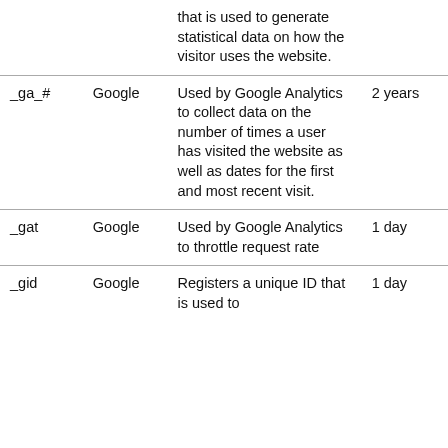| Cookie | Provider | Description | Expiry |
| --- | --- | --- | --- |
|  |  | that is used to generate statistical data on how the visitor uses the website. |  |
| _ga_# | Google | Used by Google Analytics to collect data on the number of times a user has visited the website as well as dates for the first and most recent visit. | 2 years |
| _gat | Google | Used by Google Analytics to throttle request rate | 1 day |
| _gid | Google | Registers a unique ID that is used to | 1 day |